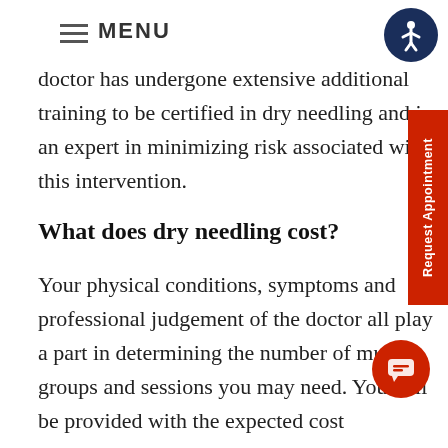MENU
doctor has undergone extensive additional training to be certified in dry needling and is an expert in minimizing risk associated with this intervention.
What does dry needling cost?
Your physical conditions, symptoms and professional judgement of the doctor all play a part in determining the number of muscle groups and sessions you may need. You will be provided with the expected cost associated with dry needling prior to the procedure being performed. Although some major medical insurance policies cover the dry needling procedure, many do not. Should insurance coverage not be an option, Louisiana Injury Care has affordable plans and payment terms...